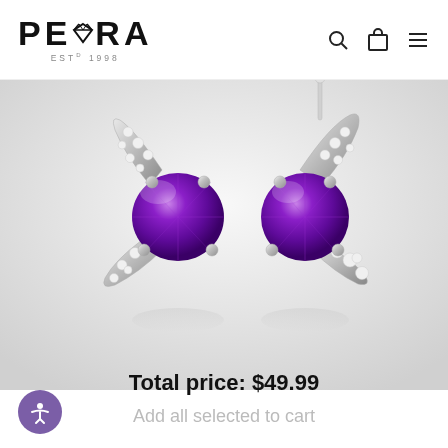PEORA ESTD 1998
[Figure (photo): Two silver earrings with oval purple amethyst gemstones set in prongs, surrounded by a curved sweep of small clear cubic zirconia stones, displayed on a light gray gradient background with reflections.]
Total price: $49.99
Add all selected to cart